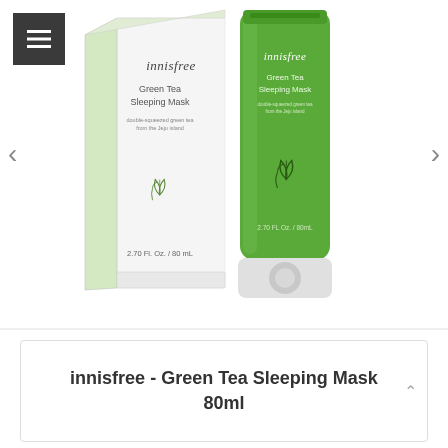[Figure (photo): Product photo of Innisfree Green Tea Sleeping Mask 80ml showing a green squeeze tube and white box packaging side by side on a white background. The box and tube both display the innisfree brand name, product name 'Green Tea Sleeping Mask', a green tea leaf illustration, and '2.70 Fl. Oz. / 80 mL' volume. A hamburger menu icon (grey square with three lines) is shown in the top-left corner. Left and right navigation arrows are on either side of the product image.]
innisfree - Green Tea Sleeping Mask 80ml